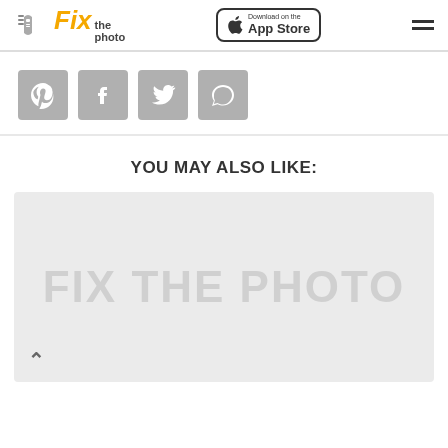Fix the photo — Download on the App Store
[Figure (logo): Fix the Photo logo with hand icon and App Store download button and hamburger menu]
[Figure (infographic): Social media sharing icons: Pinterest, Facebook, Twitter, Chat/Comment]
YOU MAY ALSO LIKE:
[Figure (screenshot): Preview card with FIX THE PHOTO watermark text on light gray background, scroll-up arrow icon at bottom left]